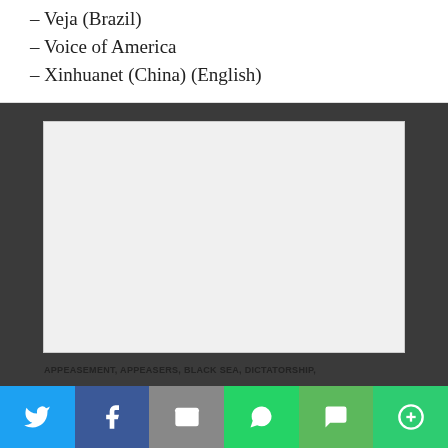– Veja (Brazil)
– Voice of America
– Xinhuanet (China) (English)
[Figure (other): Advertisement placeholder box, light gray rectangle]
APPEASEMENT, APPEASERS, BLACK SEA, DICTATORSHIP,
[Figure (other): Social share bar with icons: Twitter, Facebook, Email, WhatsApp, SMS, More]